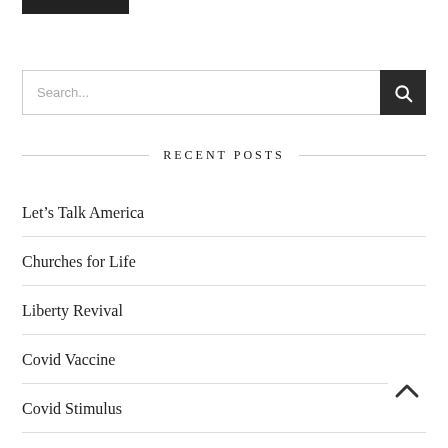[Figure (other): Black rectangle bar at top left, likely a logo or header image placeholder]
Search...
RECENT POSTS
Let’s Talk America
Churches for Life
Liberty Revival
Covid Vaccine
Covid Stimulus